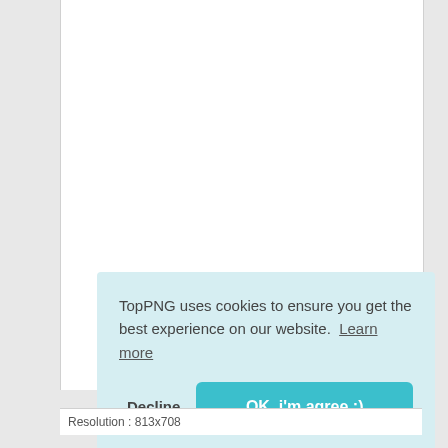TopPNG uses cookies to ensure you get the best experience on our website. Learn more
Decline
OK, i'm agree :)
Resolution : 813x708